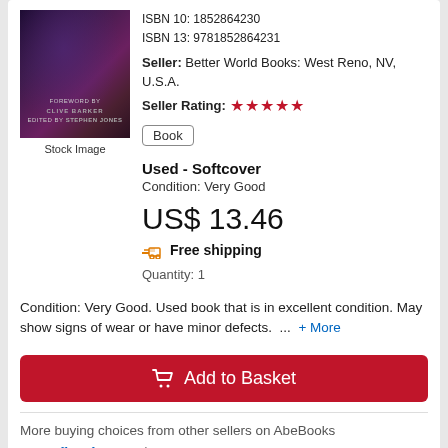[Figure (illustration): Book cover image showing a dark figure, purple and dark tones, with text overlay mentioning Clive Barker and Stephen Jones]
Stock Image
ISBN 10: 1852864230
ISBN 13: 9781852864231
Seller: Better World Books: West Reno, NV, U.S.A.
Seller Rating: ★★★★★
Book
Used - Softcover
Condition: Very Good
US$ 13.46
Free shipping
Quantity: 1
Condition: Very Good. Used book that is in excellent condition. May show signs of wear or have minor defects. ... + More
Add to Basket
More buying choices from other sellers on AbeBooks
New offers from US$ 78.76
Used offers from US$ 13.46